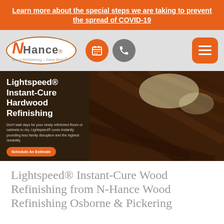Learn more about the special steps we are taking to prevent the spread of COVID-19
[Figure (logo): N-Hance Wood Refinishing – Done Right logo with orange oval border, navigation icons (calendar in orange circle, phone in gray circle), and orange hamburger menu button]
[Figure (photo): Lightspeed Instant-Cure Hardwood Refinishing hero section with dark wood floor photo on right and text overlay on dark left panel: heading, body text about instant curing, and Schedule An Estimate button]
Lightspeed® Instant-Cure Wood Refinishing from N-Hance Wood Refinishing Osborne & Pickering